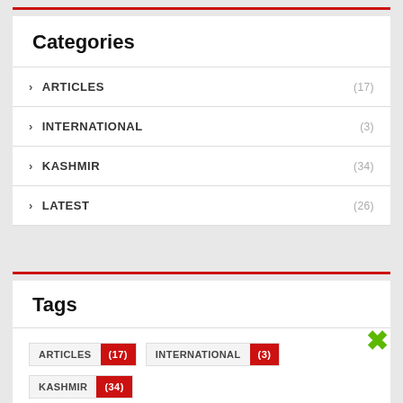Categories
ARTICLES (17)
INTERNATIONAL (3)
KASHMIR (34)
LATEST (26)
Tags
ARTICLES (17)
INTERNATIONAL (3)
KASHMIR (34)
LATEST (26)